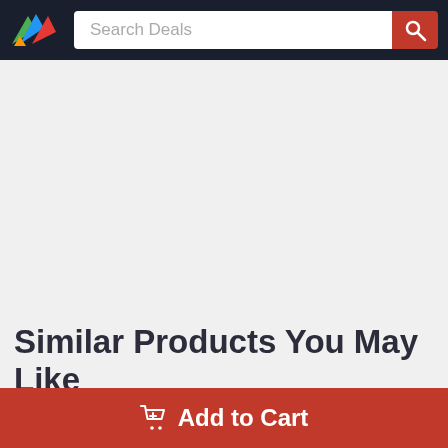Search Deals
Similar Products You May Like
Add to Cart